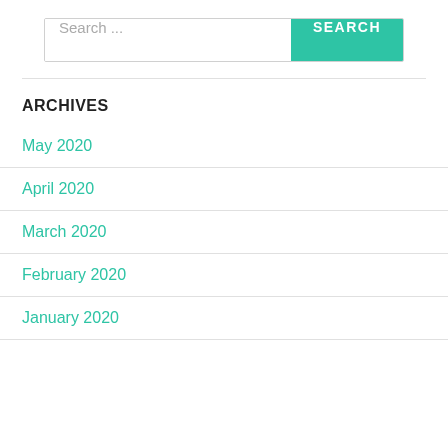[Figure (screenshot): Search bar with text input placeholder 'Search ...' and a teal SEARCH button]
ARCHIVES
May 2020
April 2020
March 2020
February 2020
January 2020